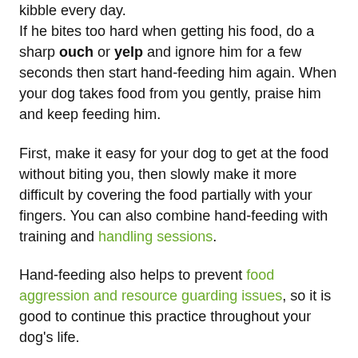kibble every day.
If he bites too hard when getting his food, do a sharp ouch or yelp and ignore him for a few seconds then start hand-feeding him again. When your dog takes food from you gently, praise him and keep feeding him.
First, make it easy for your dog to get at the food without biting you, then slowly make it more difficult by covering the food partially with your fingers. You can also combine hand-feeding with training and handling sessions.
Hand-feeding also helps to prevent food aggression and resource guarding issues, so it is good to continue this practice throughout your dog's life.
I first learned about bite inhibition from Ian Dunbar's book After You Get Your Puppy. He has more in his book on bite